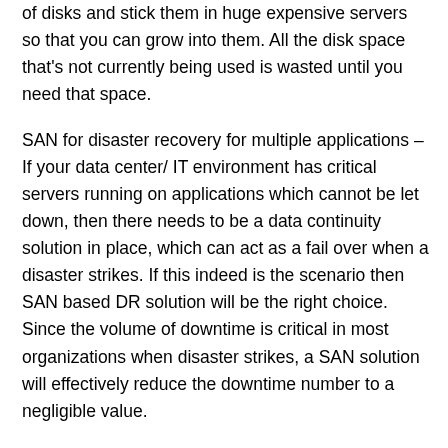of disks and stick them in huge expensive servers so that you can grow into them. All the disk space that's not currently being used is wasted until you need that space.
SAN for disaster recovery for multiple applications – If your data center/ IT environment has critical servers running on applications which cannot be let down, then there needs to be a data continuity solution in place, which can act as a fail over when a disaster strikes. If this indeed is the scenario then SAN based DR solution will be the right choice. Since the volume of downtime is critical in most organizations when disaster strikes, a SAN solution will effectively reduce the downtime number to a negligible value.
Cons: High complexity in developing a SAN is no small feat. It is a network of intricate and interconnected devices and implementation entails major device and architectural changes; this might prove to be more work than benefit for some. The up